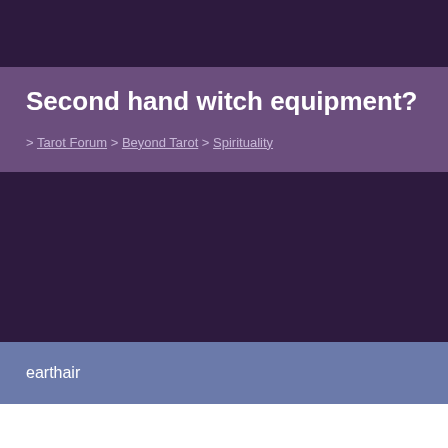Second hand witch equipment?
> Tarot Forum > Beyond Tarot > Spirituality
earthair